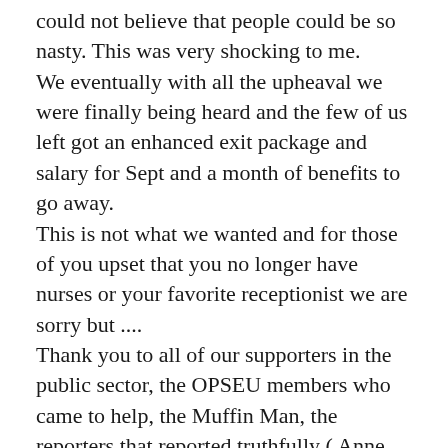could not believe that people could be so nasty. This was very shocking to me. We eventually with all the upheaval we were finally being heard and the few of us left got an enhanced exit package and salary for Sept and a month of benefits to go away. This is not what we wanted and for those of you upset that you no longer have nurses or your favorite receptionist we are sorry but .... Thank you to all of our supporters in the public sector, the OPSEU members who came to help, the Muffin Man, the reporters that reported truthfully ( Anne and David) . The people that brought baking, Tim bits,coffee food and drinks and supported our BBQ's, Those who came to ask us what was going on and offered help and wished us going and called with...